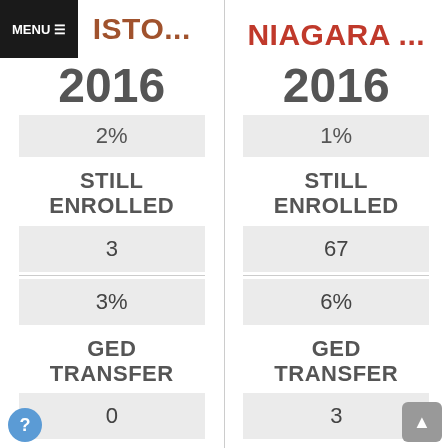ISTO...
NIAGARA ...
2016
2016
2%
1%
STILL ENROLLED
STILL ENROLLED
3
67
3%
6%
GED TRANSFER
GED TRANSFER
0
3